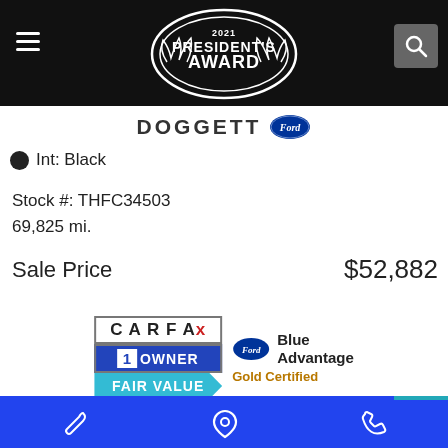2021 President's Award — Doggett Ford
Int: Black
Stock #: THFC34503
69,825 mi.
Sale Price   $52,882
[Figure (logo): CARFAX 1 Owner Fair Value badge, Ford Blue Advantage Gold Certified badge]
GET TODAY'S PRICE
Bottom navigation bar with wrench, location pin, and phone icons